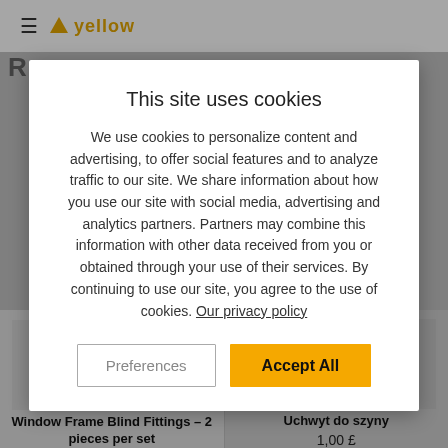yellow (logo)
This site uses cookies
We use cookies to personalize content and advertising, to offer social features and to analyze traffic to our site. We share information about how you use our site with social media, advertising and analytics partners. Partners may combine this information with other data received from you or obtained through your use of their services. By continuing to use our site, you agree to the use of cookies. Our privacy policy
Preferences
Accept All
[Figure (photo): Product image: Window Frame Blind Fittings – 2 pieces per set, showing grey metal brackets and screws]
Window Frame Blind Fittings – 2 pieces per set
[Figure (photo): Product image: Uchwyt do szyny, showing grey metal mounting bracket and screws]
Uchwyt do szyny
1,00 £